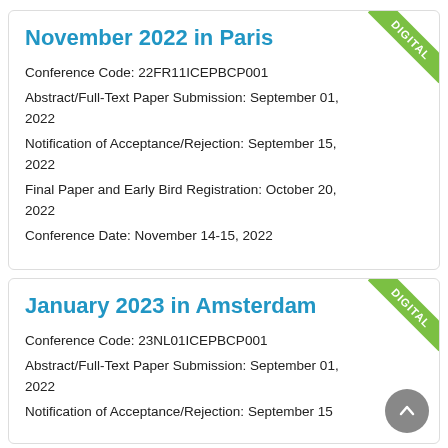November 2022 in Paris
Conference Code: 22FR11ICEPBCP001
Abstract/Full-Text Paper Submission: September 01, 2022
Notification of Acceptance/Rejection: September 15, 2022
Final Paper and Early Bird Registration: October 20, 2022
Conference Date: November 14-15, 2022
January 2023 in Amsterdam
Conference Code: 23NL01ICEPBCP001
Abstract/Full-Text Paper Submission: September 01, 2022
Notification of Acceptance/Rejection: September 15